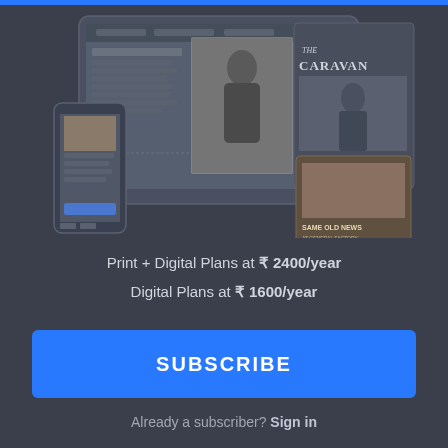[Figure (screenshot): Device mockup showing a tablet and smartphone displaying The Caravan magazine digital editions, including covers with 'THE CARAVAN' masthead and 'SAME OLD NEWS' headline]
Print + Digital Plans at ₹ 2400/year
Digital Plans at ₹ 1600/year
SUBSCRIBE
Already a subscriber? Sign in